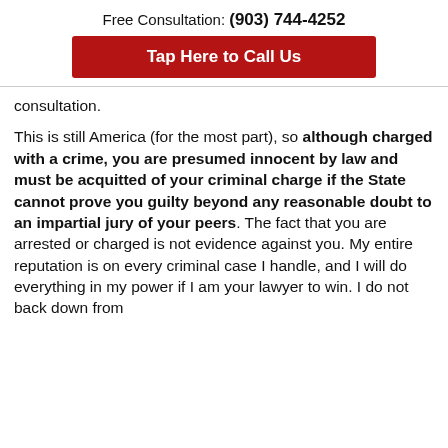Free Consultation: (903) 744-4252
Tap Here to Call Us
consultation.
This is still America (for the most part), so although charged with a crime, you are presumed innocent by law and must be acquitted of your criminal charge if the State cannot prove you guilty beyond any reasonable doubt to an impartial jury of your peers. The fact that you are arrested or charged is not evidence against you. My entire reputation is on every criminal case I handle, and I will do everything in my power if I am your lawyer to win. I do not back down from